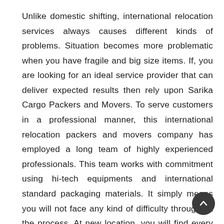Unlike domestic shifting, international relocation services always causes different kinds of problems. Situation becomes more problematic when you have fragile and big size items. If, you are looking for an ideal service provider that can deliver expected results then rely upon Sarika Cargo Packers and Movers. To serve customers in a professional manner, this international relocation packers and movers company has employed a long team of highly experienced professionals. This team works with commitment using hi-tech equipments and international standard packaging materials. It simply means you will not face any kind of difficulty throughout the process. At new location, you will find every possession safe and damage free..